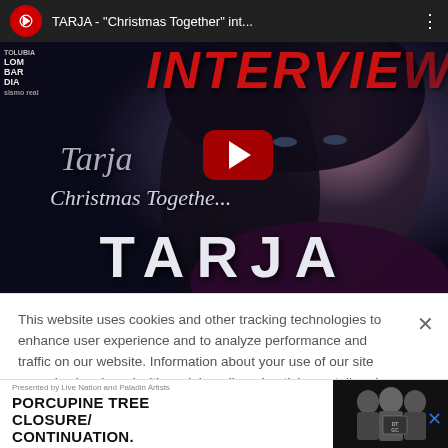[Figure (screenshot): YouTube video thumbnail for TARJA - 'Christmas Together' interview. Shows a woman's face against dark starry background with red 'INTERVIEW' text, Tarja signature, 'Christmas Together' text, YouTube play button, and 'TARJA' text at bottom. YouTube top bar shows logo and video title.]
This website uses cookies and other tracking technologies to enhance user experience and to analyze performance and traffic on our website. Information about your use of our site may also be shared with social media, advertising, retail and analytics providers and partners.  Privacy Policy
Presented by Live Nation and Paladin Artists
PORCUPINE TREE CLOSURE/ CONTINUATION.